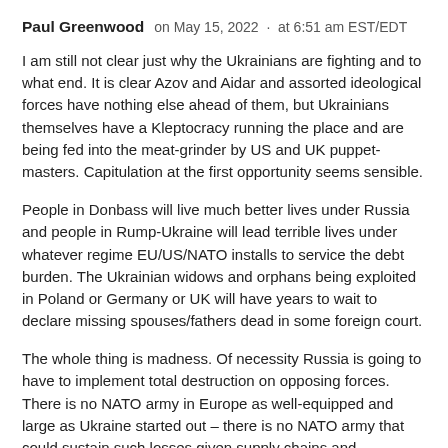Paul Greenwood   on May 15, 2022 · at 6:51 am EST/EDT
I am still not clear just why the Ukrainians are fighting and to what end. It is clear Azov and Aidar and assorted ideological forces have nothing else ahead of them, but Ukrainians themselves have a Kleptocracy running the place and are being fed into the meat-grinder by US and UK puppet-masters. Capitulation at the first opportunity seems sensible.
People in Donbass will live much better lives under Russia and people in Rump-Ukraine will lead terrible lives under whatever regime EU/US/NATO installs to service the debt burden. The Ukrainian widows and orphans being exploited in Poland or Germany or UK will have years to wait to declare missing spouses/fathers dead in some foreign court.
The whole thing is madness. Of necessity Russia is going to have to implement total destruction on opposing forces. There is no NATO army in Europe as well-equipped and large as Ukraine started out – there is no NATO army that could sustain such losses given supply chains and convoluted logistics of US supply.
If nothing else Russia will have a very combat-proven army in a